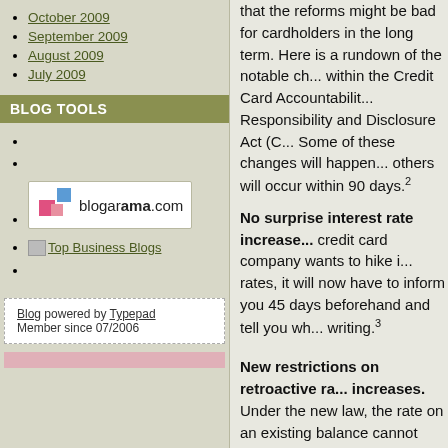October 2009
September 2009
August 2009
July 2009
BLOG TOOLS
[Figure (logo): Blogarama.com logo with colored squares]
[Figure (logo): Top Business Blogs image link]
Blog powered by Typepad
Member since 07/2006
that the reforms might be bad for cardholders in the long term. Here is a rundown of the notable ch... within the Credit Card Accountabilit... Responsibility and Disclosure Act (C... Some of these changes will happen... others will occur within 90 days.2
No surprise interest rate increase... credit card company wants to hike i... rates, it will now have to inform you 45 days beforehand and tell you wh... writing.3
New restrictions on retroactive ra... increases. Under the new law, the rate on an existing balance cannot unless the customer is more than 6... behind on a payment. Get this, thou...